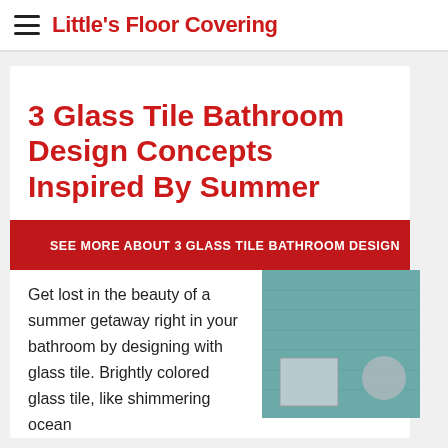Little's Floor Covering
3 Glass Tile Bathroom Design Concepts Inspired By Summer
SEE MORE ABOUT 3 GLASS TILE BATHROOM DESIGN
Get lost in the beauty of a summer getaway right in your bathroom by designing with glass tile. Brightly colored glass tile, like shimmering ocean